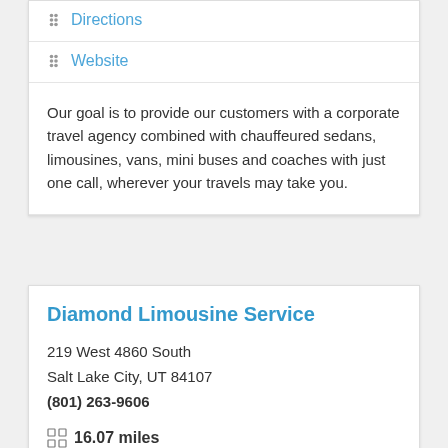Directions
Website
Our goal is to provide our customers with a corporate travel agency combined with chauffeured sedans, limousines, vans, mini buses and coaches with just one call, wherever your travels may take you.
Diamond Limousine Service
219 West 4860 South
Salt Lake City, UT 84107
(801) 263-9606
16.07 miles